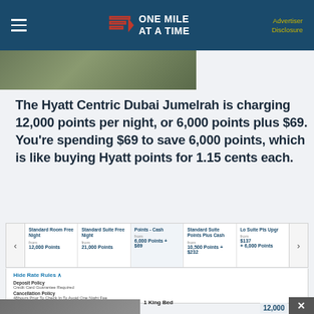ONE MILE AT A TIME | Advertiser Disclosure
[Figure (photo): Partial photo of hotel room interior]
The Hyatt Centric Dubai Jumelrah is charging 12,000 points per night, or 6,000 points plus $69. You're spending $69 to save 6,000 points, which is like buying Hyatt points for 1.15 cents each.
| Standard Room Free Night | Standard Suite Free Night | Points - Cash | Standard Suite Points Plus Cash | Lo Suite Pts Upgr |
| --- | --- | --- | --- | --- |
| from 12,000 Points | from 21,000 Points | from 6,000 Points + $69 | from 10,500 Points + $232 | from $137 + 6,000 Points |
Hide Rate Rules
Deposit Policy
Credit Card Guarantee Required
Cancellation Policy
48hours Prior To Check In To Avoid One Night Fee
1 King Bed